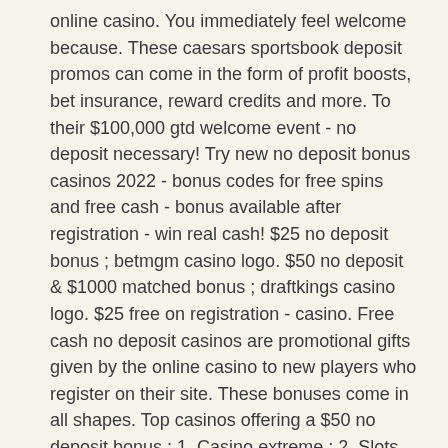online casino. You immediately feel welcome because. These caesars sportsbook deposit promos can come in the form of profit boosts, bet insurance, reward credits and more. To their $100,000 gtd welcome event - no deposit necessary! Try new no deposit bonus casinos 2022 - bonus codes for free spins and free cash - bonus available after registration - win real cash! $25 no deposit bonus ; betmgm casino logo. $50 no deposit &amp; $1000 matched bonus ; draftkings casino logo. $25 free on registration - casino. Free cash no deposit casinos are promotional gifts given by the online casino to new players who register on their site. These bonuses come in all shapes. Top casinos offering a $50 no deposit bonus ; 1. Casino extreme ; 2. Slots of vegas casino ; 3. Casino brango ; 4. Royal ace casino ; 5. Can i